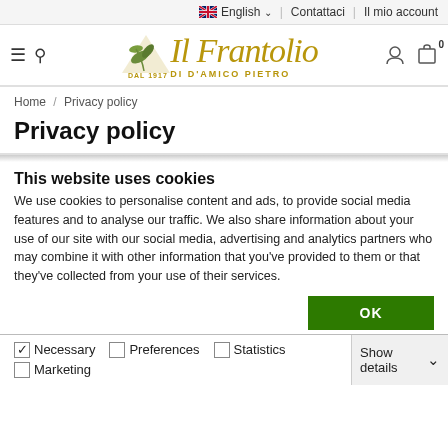English  Contattaci | Il mio account
[Figure (logo): Il Frantolio di D'Amico Pietro logo with olive branch, DAL 1917, gold italic script]
Home / Privacy policy
Privacy policy
This website uses cookies
We use cookies to personalise content and ads, to provide social media features and to analyse our traffic. We also share information about your use of our site with our social media, advertising and analytics partners who may combine it with other information that you've provided to them or that they've collected from your use of their services.
OK
Necessary  Preferences  Statistics  Marketing  Show details